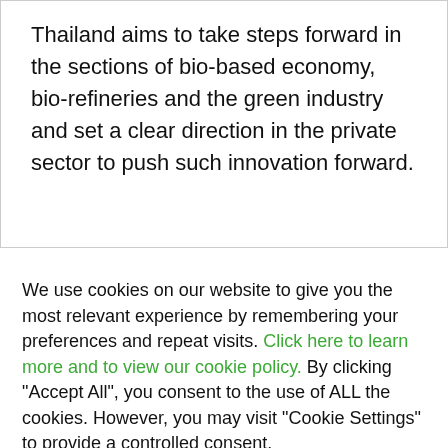Thailand aims to take steps forward in the sections of bio-based economy, bio-refineries and the green industry and set a clear direction in the private sector to push such innovation forward.
We use cookies on our website to give you the most relevant experience by remembering your preferences and repeat visits. Click here to learn more and to view our cookie policy. By clicking "Accept All", you consent to the use of ALL the cookies. However, you may visit "Cookie Settings" to provide a controlled consent.